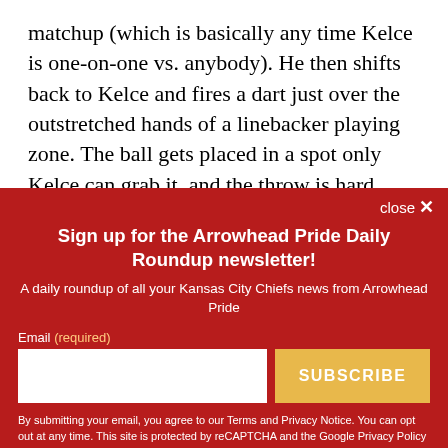matchup (which is basically any time Kelce is one-on-one vs. anybody). He then shifts back to Kelce and fires a dart just over the outstretched hands of a linebacker playing zone. The ball gets placed in a spot only Kelce can grab it, and the throw is hard enough to remove any risk that the scrambling safety can recover
close ✕
Sign up for the Arrowhead Pride Daily Roundup newsletter!
A daily roundup of all your Kansas City Chiefs news from Arrowhead Pride
Email (required)
SUBSCRIBE
By submitting your email, you agree to our Terms and Privacy Notice. You can opt out at any time. This site is protected by reCAPTCHA and the Google Privacy Policy and Terms of Service apply.